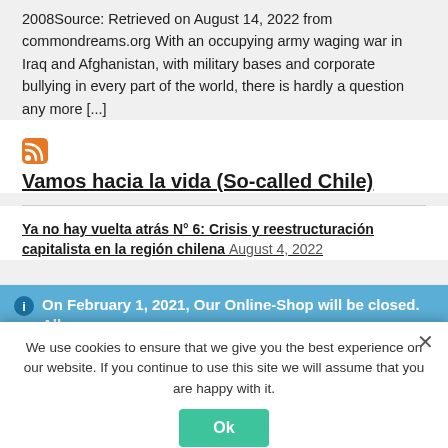2008Source: Retrieved on August 14, 2022 from commondreams.org With an occupying army waging war in Iraq and Afghanistan, with military bases and corporate bullying in every part of the world, there is hardly a question any more [...]
[Figure (logo): RSS feed icon - orange square with white wave symbol]
Vamos hacia la vida (So-called Chile)
Ya no hay vuelta atrás N° 6: Crisis y reestructuración capitalista en la región chilena August 4, 2022
On February 1, 2021, Our Online-Shop will be closed. All orders until January 31 will be delivered
Dismiss
We use cookies to ensure that we give you the best experience on our website. If you continue to use this site we will assume that you are happy with it.